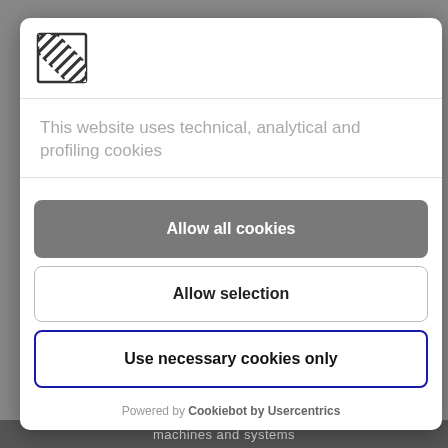[Figure (logo): Striped square logo with company name below]
This website uses technical, analytical and profiling cookies
Allow all cookies
Allow selection
Use necessary cookies only
Powered by Cookiebot by Usercentrics
machines and systems